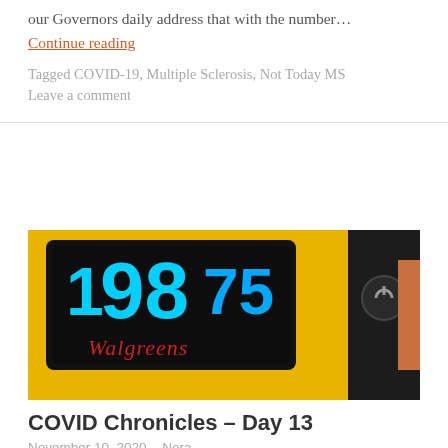our Governors daily address that with the number…
Continue reading
Tagged COVID-19, Multiple Sclerosis, Not Today MS
Leave a comment
[Figure (photo): A yellow Walgreens pulse oximeter showing readings 98 and 75 in blue digital numbers on a dark screen, attached to a finger.]
COVID Chronicles – Day 13
November 10, 2020   Nora